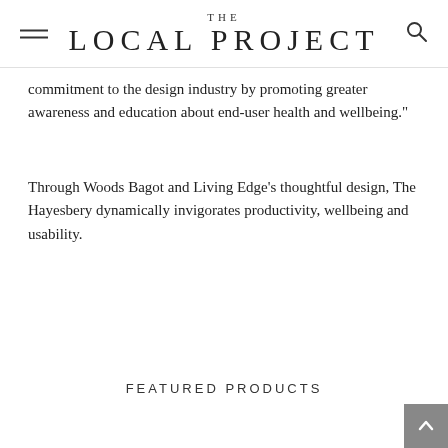THE LOCAL PROJECT
commitment to the design industry by promoting greater awareness and education about end-user health and wellbeing."
Through Woods Bagot and Living Edge's thoughtful design, The Hayesbery dynamically invigorates productivity, wellbeing and usability.
FEATURED PRODUCTS